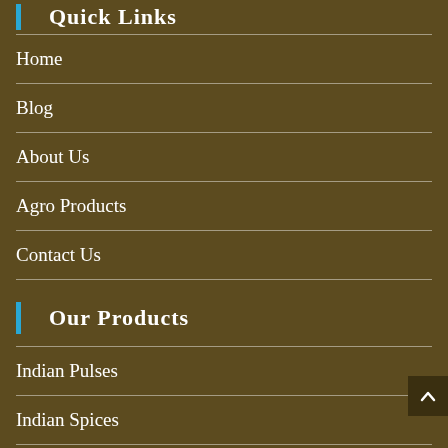Quick Links
Home
Blog
About Us
Agro Products
Contact Us
Our Products
Indian Pulses
Indian Spices
Agro Seeds